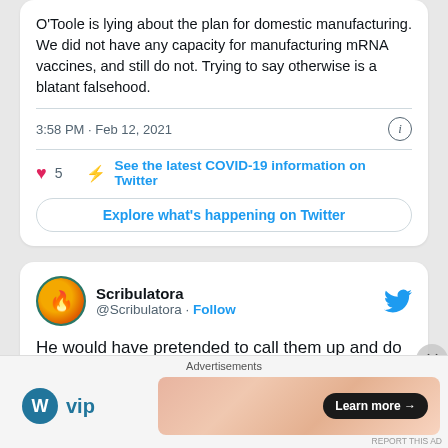O'Toole is lying about the plan for domestic manufacturing.
We did not have any capacity for manufacturing mRNA vaccines, and still do not. Trying to say otherwise is a blatant falsehood.
3:58 PM · Feb 12, 2021
5  See the latest COVID-19 information on Twitter
Explore what's happening on Twitter
Scribulatora @Scribulatora · Follow
He would have pretended to call them up and do a firecracker ... oh wait ... it was @erinotoole who pretended to call the
Advertisements
[Figure (logo): WordPress VIP logo and advertisement banner with Learn more button]